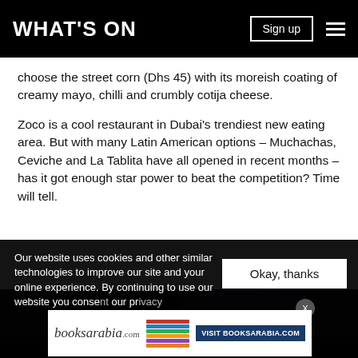WHAT'S ON
choose the street corn (Dhs 45) with its moreish coating of creamy mayo, chilli and crumbly cotija cheese.
Zoco is a cool restaurant in Dubai's trendiest new eating area. But with many Latin American options – Muchachas, Ceviche and La Tablita have all opened in recent months – has it got enough star power to beat the competition? Time will tell.
[Figure (photo): Dark overhead photo of a plate or dish at Zoco restaurant]
Our website uses cookies and other similar technologies to improve our site and your online experience. By continuing to use our website you consent to our use of these technologies and to the terms of our privacy policy.
[Figure (advertisement): BooksArabia.com advertisement banner with book spines and VISIT BOOKSARABIA.COM button]